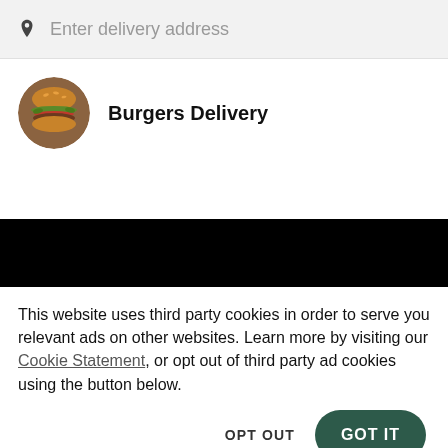Enter delivery address
Burgers Delivery
[Figure (other): Black banner bar]
This website uses third party cookies in order to serve you relevant ads on other websites. Learn more by visiting our Cookie Statement, or opt out of third party ad cookies using the button below.
OPT OUT
GOT IT